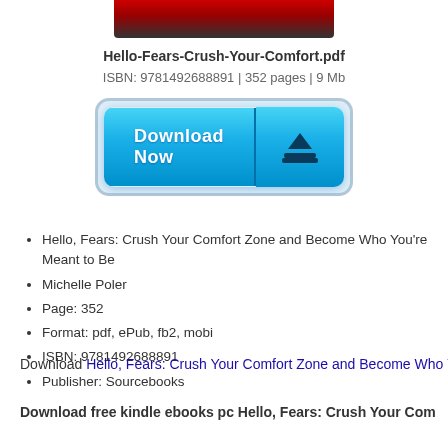[Figure (photo): Partial book cover image cropped at top of page]
Hello-Fears-Crush-Your-Comfort.pdf
ISBN: 9781492688891 | 352 pages | 9 Mb
[Figure (other): Download Now button with blue gradient and download arrow icon]
Hello, Fears: Crush Your Comfort Zone and Become Who You're Meant to Be
Michelle Poler
Page: 352
Format: pdf, ePub, fb2, mobi
ISBN: 9781492688891
Publisher: Sourcebooks
Download Hello, Fears: Crush Your Comfort Zone and Become Who You're
Download free kindle ebooks pc Hello, Fears: Crush Your Com